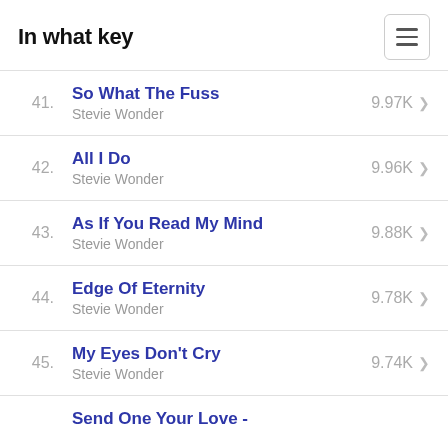In what key
41. So What The Fuss - Stevie Wonder - 9.97K
42. All I Do - Stevie Wonder - 9.96K
43. As If You Read My Mind - Stevie Wonder - 9.88K
44. Edge Of Eternity - Stevie Wonder - 9.78K
45. My Eyes Don't Cry - Stevie Wonder - 9.74K
Send One Your Love -